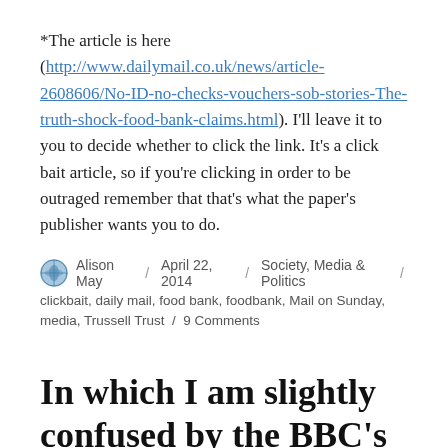*The article is here (http://www.dailymail.co.uk/news/article-2608606/No-ID-no-checks-vouchers-sob-stories-The-truth-shock-food-bank-claims.html). I'll leave it to you to decide whether to click the link. It's a click bait article, so if you're clicking in order to be outraged remember that that's what the paper's publisher wants you to do.
Alison May / April 22, 2014 / Society, Media & Politics / clickbait, daily mail, food bank, foodbank, Mail on Sunday, media, Trussell Trust / 9 Comments
In which I am slightly confused by the BBC's